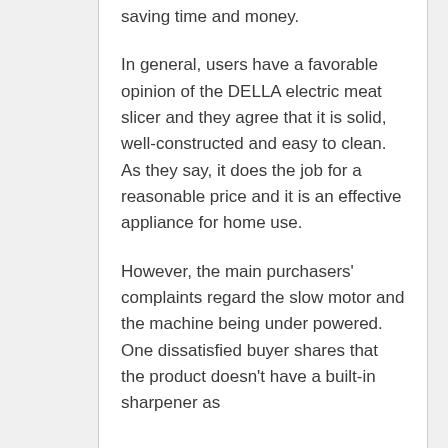saving time and money.
In general, users have a favorable opinion of the DELLA electric meat slicer and they agree that it is solid, well-constructed and easy to clean. As they say, it does the job for a reasonable price and it is an effective appliance for home use.
However, the main purchasers' complaints regard the slow motor and the machine being under powered. One dissatisfied buyer shares that the product doesn't have a built-in sharpener as